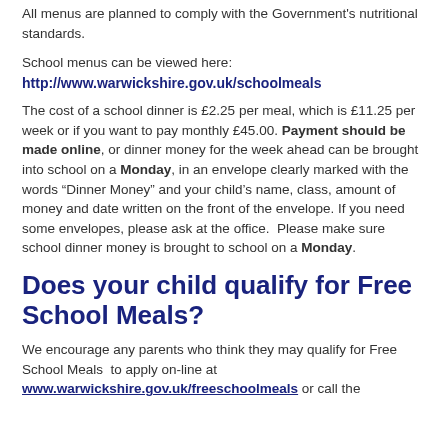All menus are planned to comply with the Government's nutritional standards.
School menus can be viewed here:
http://www.warwickshire.gov.uk/schoolmeals
The cost of a school dinner is £2.25 per meal, which is £11.25 per week or if you want to pay monthly £45.00. Payment should be made online, or dinner money for the week ahead can be brought into school on a Monday, in an envelope clearly marked with the words “Dinner Money” and your child’s name, class, amount of money and date written on the front of the envelope. If you need some envelopes, please ask at the office.  Please make sure school dinner money is brought to school on a Monday.
Does your child qualify for Free School Meals?
We encourage any parents who think they may qualify for Free School Meals  to apply on-line at www.warwickshire.gov.uk/freeschoolmeals or call the